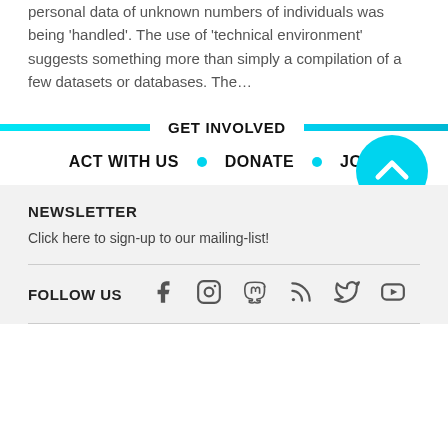personal data of unknown numbers of individuals was being 'handled'. The use of 'technical environment' suggests something more than simply a compilation of a few datasets or databases. The...
GET INVOLVED
ACT WITH US • DONATE • JOIN
[Figure (other): Cyan circular scroll-to-top button with upward chevron arrow]
NEWSLETTER
Click here to sign-up to our mailing-list!
FOLLOW US
[Figure (other): Social media icons: Facebook, Instagram, Mastodon, RSS, Twitter, YouTube]